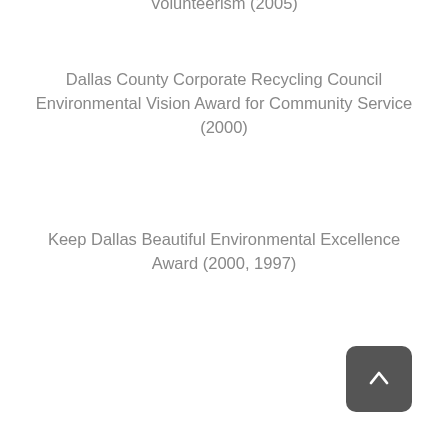Volunteerism (2005)
Dallas County Corporate Recycling Council Environmental Vision Award for Community Service (2000)
Keep Dallas Beautiful Environmental Excellence Award (2000, 1997)